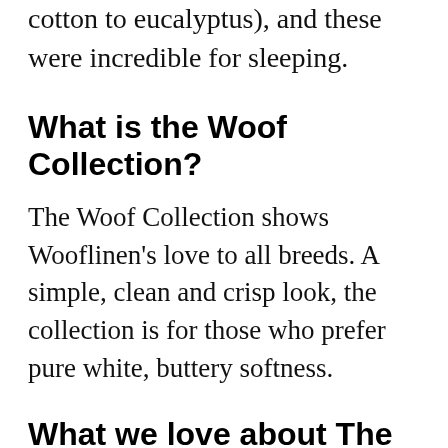cotton to eucalyptus), and these were incredible for sleeping.
What is the Woof Collection?
The Woof Collection shows Wooflinen's love to all breeds. A simple, clean and crisp look, the collection is for those who prefer pure white, buttery softness.
What we love about The Woof Collection 100% Bamboo Sheet Set